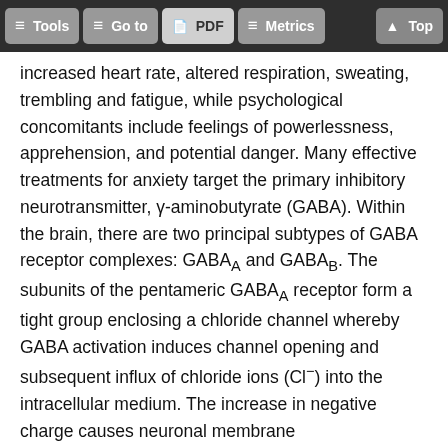Tools  Go to  PDF  Metrics  Top
increased heart rate, altered respiration, sweating, trembling and fatigue, while psychological concomitants include feelings of powerlessness, apprehension, and potential danger. Many effective treatments for anxiety target the primary inhibitory neurotransmitter, γ-aminobutyrate (GABA). Within the brain, there are two principal subtypes of GABA receptor complexes: GABAA and GABAB. The subunits of the pentameric GABAA receptor form a tight group enclosing a chloride channel whereby GABA activation induces channel opening and subsequent influx of chloride ions (Cl⁻) into the intracellular medium. The increase in negative charge causes neuronal membrane hyperpolarization and a resultant inhibition of neurotransmitter release. In this way, GABA agonists can induce anxiolysis, sleep, and anesthesia.